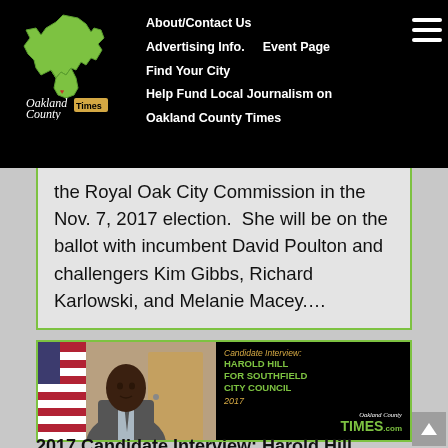About/Contact Us | Advertising Info. | Event Page | Find Your City | Help Fund Local Journalism on Oakland County Times
the Royal Oak City Commission in the Nov. 7, 2017 election. She will be on the ballot with incumbent David Poulton and challengers Kim Gibbs, Richard Karlowski, and Melanie Macey....
[Figure (photo): Candidate interview photo of Harold Hill seated at a desk in a suit, with an American flag in the background. Right side shows text overlay: 'Candidate Interview: Harold Hill for Southfield City Council 2017' with Oakland County Times logo.]
2017 Candidate Interview: Harold Hill...